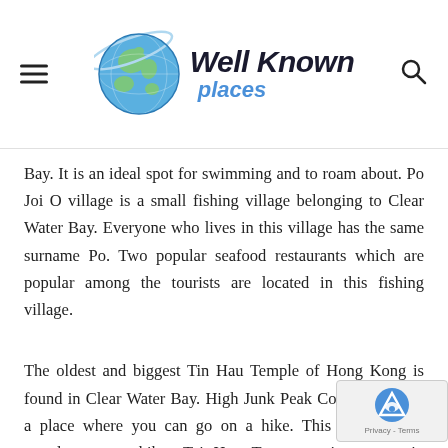Well Known places
Bay. It is an ideal spot for swimming and to roam about. Po Joi O village is a small fishing village belonging to Clear Water Bay. Everyone who lives in this village has the same surname Po. Two popular seafood restaurants which are popular among the tourists are located in this fishing village.
The oldest and biggest Tin Hau Temple of Hong Kong is found in Clear Water Bay. High Junk Peak Country Trail is a place where you can go on a hike. This spot is very popular among hikers.Tai Hun Tan recreation center in Clear Water Bay is a place laid out like a park with barbeque sites, short trails, view points and an area for kite flying, for all the visitors who co... enjoy. If a traveler is in search of a Wan Chai Hotel